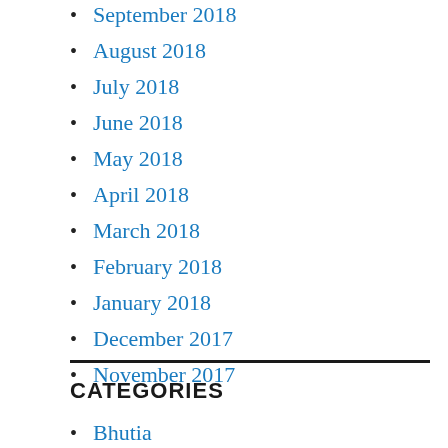September 2018
August 2018
July 2018
June 2018
May 2018
April 2018
March 2018
February 2018
January 2018
December 2017
November 2017
CATEGORIES
Bhutia